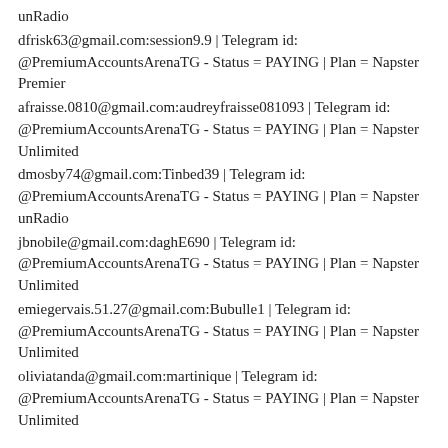unRadio
dfrisk63@gmail.com:session9.9 | Telegram id: @PremiumAccountsArenaTG - Status = PAYING | Plan = Napster Premier
afraisse.0810@gmail.com:audreyfraisse081093 | Telegram id: @PremiumAccountsArenaTG - Status = PAYING | Plan = Napster Unlimited
dmosby74@gmail.com:Tinbed39 | Telegram id: @PremiumAccountsArenaTG - Status = PAYING | Plan = Napster unRadio
jbnobile@gmail.com:daghE690 | Telegram id: @PremiumAccountsArenaTG - Status = PAYING | Plan = Napster Unlimited
emiegervais.51.27@gmail.com:Bubulle1 | Telegram id: @PremiumAccountsArenaTG - Status = PAYING | Plan = Napster Unlimited
oliviatanda@gmail.com:martinique | Telegram id: @PremiumAccountsArenaTG - Status = PAYING | Plan = Napster Unlimited